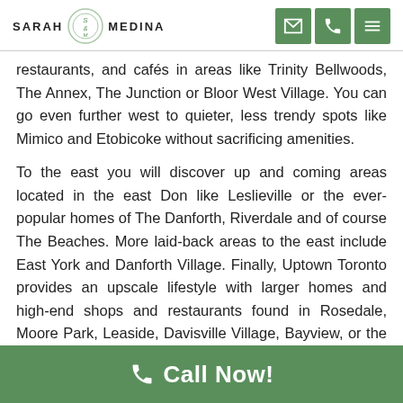SARAH MEDINA [logo] — with envelope, phone, and menu icons
restaurants, and cafés in areas like Trinity Bellwoods, The Annex, The Junction or Bloor West Village. You can go even further west to quieter, less trendy spots like Mimico and Etobicoke without sacrificing amenities.
To the east you will discover up and coming areas located in the east Don like Leslieville or the ever-popular homes of The Danforth, Riverdale and of course The Beaches. More laid-back areas to the east include East York and Danforth Village. Finally, Uptown Toronto provides an upscale lifestyle with larger homes and high-end shops and restaurants found in Rosedale, Moore Park, Leaside, Davisville Village, Bayview, or the Bridle Path to name a few. Regardless of the area, you
Call Now!